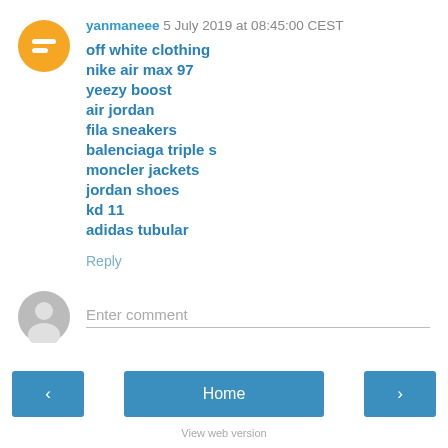yanmaneee  5 July 2019 at 08:45:00 CEST
off white clothing
nike air max 97
yeezy boost
air jordan
fila sneakers
balenciaga triple s
moncler jackets
jordan shoes
kd 11
adidas tubular
Reply
Enter comment
Home